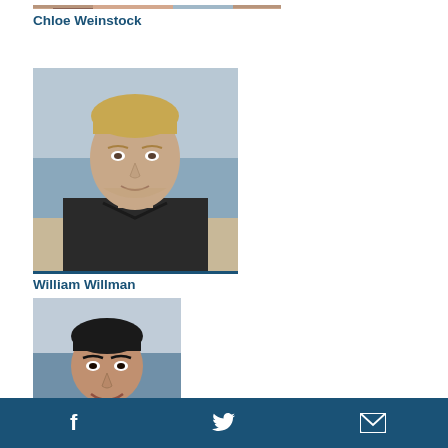[Figure (photo): Partial photo of Chloe Weinstock cropped at top of page]
Chloe Weinstock
[Figure (photo): Headshot of William Willman, a man with short blonde hair wearing a dark jacket, with ocean/beach in background]
William Willman
[Figure (photo): Headshot of a man with dark hair wearing a blue shirt, with beach/ocean in background]
Facebook icon, Twitter icon, Email icon